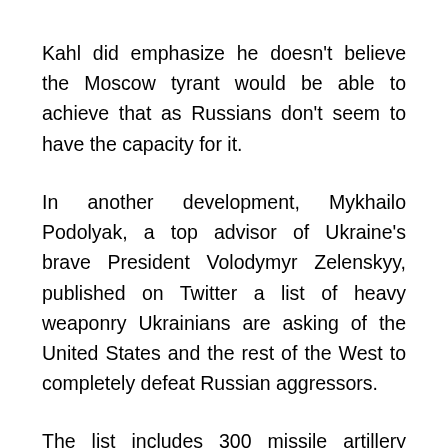Kahl did emphasize he doesn't believe the Moscow tyrant would be able to achieve that as Russians don't seem to have the capacity for it.
In another development, Mykhailo Podolyak, a top advisor of Ukraine's brave President Volodymyr Zelenskyy, published on Twitter a list of heavy weaponry Ukrainians are asking of the United States and the rest of the West to completely defeat Russian aggressors.
The list includes 300 missile artillery systems (MLRS), 1,000 howitzers, 2,000 armored personnel carriers, 500 tanks, and 1,000...